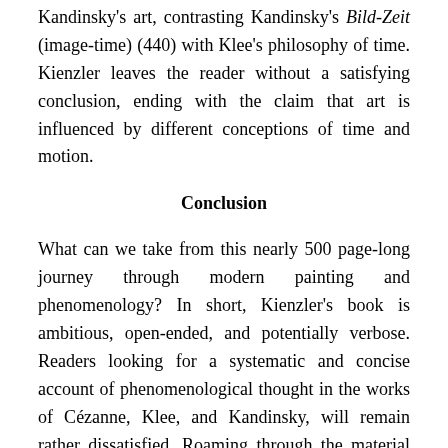Kandinsky's art, contrasting Kandinsky's Bild-Zeit (image-time) (440) with Klee's philosophy of time. Kienzler leaves the reader without a satisfying conclusion, ending with the claim that art is influenced by different conceptions of time and motion.
Conclusion
What can we take from this nearly 500 page-long journey through modern painting and phenomenology? In short, Kienzler's book is ambitious, open-ended, and potentially verbose. Readers looking for a systematic and concise account of phenomenological thought in the works of Cézanne, Klee, and Kandinsky, will remain rather dissatisfied. Roaming through the material without a clear roadmap, Kienzler's book does not really come together as a whole. However, Kienzler leads